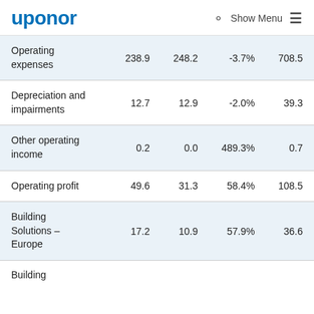uponor | Search | Show Menu
|  |  |  |  |  |
| --- | --- | --- | --- | --- |
| Operating expenses | 238.9 | 248.2 | -3.7% | 708.5 |
| Depreciation and impairments | 12.7 | 12.9 | -2.0% | 39.3 |
| Other operating income | 0.2 | 0.0 | 489.3% | 0.7 |
| Operating profit | 49.6 | 31.3 | 58.4% | 108.5 |
| Building Solutions – Europe | 17.2 | 10.9 | 57.9% | 36.6 |
Building